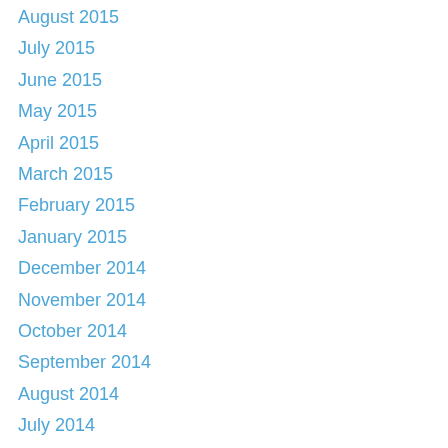August 2015
July 2015
June 2015
May 2015
April 2015
March 2015
February 2015
January 2015
December 2014
November 2014
October 2014
September 2014
August 2014
July 2014
June 2014
May 2014
March 2014
February 2014
January 2014
December 2013